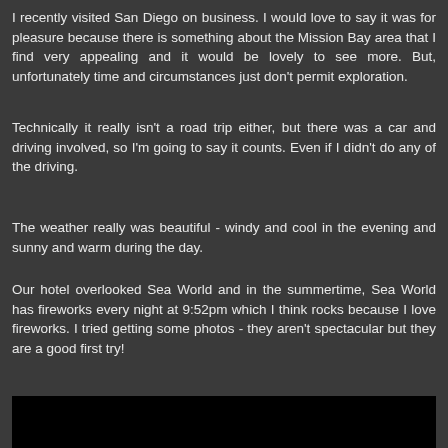I recently visited San Diego on business. I would love to say it was for pleasure because there is something about the Mission Bay area that I find very appealing and it would be lovely to see more. But, unfortunately time and circumstances just don't permit exploration.
Technically it really isn't a road trip either, but there was a car and driving involved, so I'm going to say it counts. Even if I didn't do any of the driving.
The weather really was beautiful - windy and cool in the evening and sunny and warm during the day.
Our hotel overlooked Sea World and in the summertime, Sea World has fireworks every night at 9:52pm which I think rocks because I love fireworks. I tried getting some photos - they aren't spectacular but they are a good first try!
[Figure (photo): Dark/black photograph, likely a nighttime photo of fireworks at Sea World, partially visible at the bottom of the page]